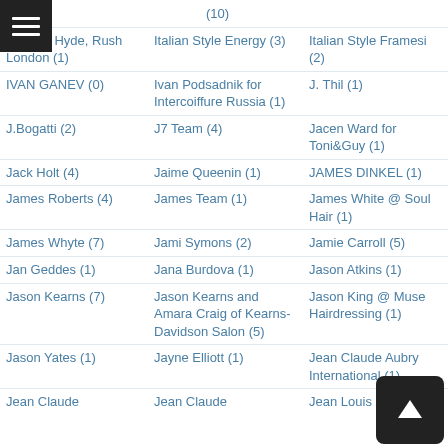Isabella Hyde, Rush London (1)
Italian Style Energy (3)
Italian Style Framesi (2)
IVAN GANEV (0)
Ivan Podsadnik for Intercoiffure Russia (1)
J. Thil (1)
J.Bogatti (2)
J7 Team (4)
Jacen Ward for Toni&Guy (1)
Jack Holt (4)
Jaime Queenin (1)
JAMES DINKEL (1)
James Roberts (4)
James Team (1)
James White @ Soul Hair (1)
James Whyte (7)
Jami Symons (2)
Jamie Carroll (5)
Jan Geddes (1)
Jana Burdova (1)
Jason Atkins (1)
Jason Kearns (7)
Jason Kearns and Amara Craig of Kearns-Davidson Salon (5)
Jason King @ Muse Hairdressing (1)
Jason Yates (1)
Jayne Elliott (1)
Jean Claude Aubry International (1)
Jean Claude
Jean Claude
Jean Louis David (9)